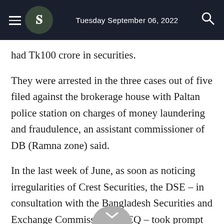Tuesday September 06, 2022
had Tk100 crore in securities.
They were arrested in the three cases out of five filed against the brokerage house with Paltan police station on charges of money laundering and fraudulence, an assistant commissioner of DB (Ramna zone) said.
In the last week of June, as soon as noticing irregularities of Crest Securities, the DSE – in consultation with the Bangladesh Securities and Exchange Commission (BSEQ – took prompt action by freezing the remaining assets of the company's owners and requested t... avel restriction